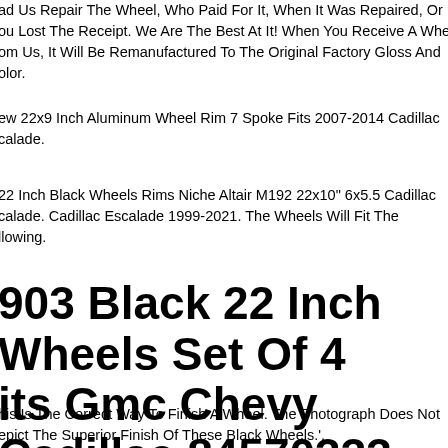ad Us Repair The Wheel, Who Paid For It, When It Was Repaired, Or you Lost The Receipt. We Are The Best At It! When You Receive A Wheel From Us, It Will Be Remanufactured To The Original Factory Gloss And Color.
ew 22x9 Inch Aluminum Wheel Rim 7 Spoke Fits 2007-2014 Cadillac Escalade.
22 Inch Black Wheels Rims Niche Altair M192 22x10" 6x5.5 Cadillac Escalade. Cadillac Escalade 1999-2021. The Wheels Will Fit The Following.
903 Black 22 Inch Wheels Set Of 4 Fits Gmc Chevy Cadillac 84570333 Rims
his Is The Correct Way To Finish A Wheel. The Photograph Does Not Depict The Superior Finish Of These Black Wheels.'.